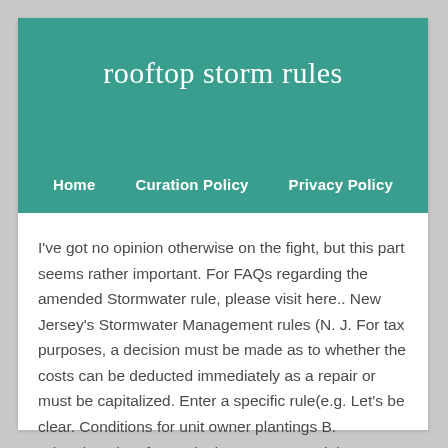rooftop storm rules
Home   Curation Policy   Privacy Policy
I've got no opinion otherwise on the fight, but this part seems rather important. For FAQs regarding the amended Stormwater rule, please visit here.. New Jersey's Stormwater Management rules (N. J. For tax purposes, a decision must be made as to whether the costs can be deducted immediately as a repair or must be capitalized. Enter a specific rule(e.g. Let's be clear. Conditions for unit owner plantings B. Wizard101 has four epic dungeons you might not